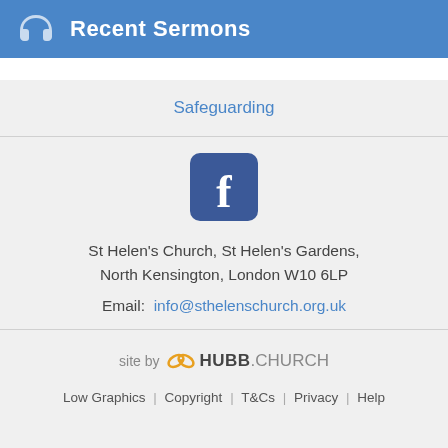Recent Sermons
Safeguarding
[Figure (logo): Facebook logo icon — blue rounded square with white letter f]
St Helen's Church, St Helen's Gardens, North Kensington, London W10 6LP
Email: info@sthelenschurch.org.uk
site by HUBB.CHURCH
Low Graphics | Copyright | T&Cs | Privacy | Help